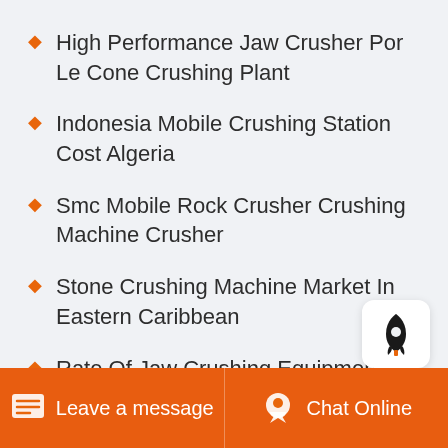High Performance Jaw Crusher Por Le Cone Crushing Plant
Indonesia Mobile Crushing Station Cost Algeria
Smc Mobile Rock Crusher Crushing Machine Crusher
Stone Crushing Machine Market In Eastern Caribbean
Rate Of Jaw Crushing Equipment Equipment
Qatar Second Hand Crushing Plant In
Leave a message   Chat Online